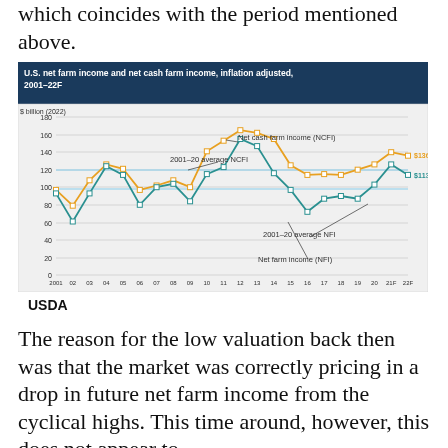which coincides with the period mentioned above.
[Figure (line-chart): U.S. net farm income and net cash farm income, inflation adjusted, 2001–22F]
USDA
The reason for the low valuation back then was that the market was correctly pricing in a drop in future net farm income from the cyclical highs. This time around, however, this does not appear to